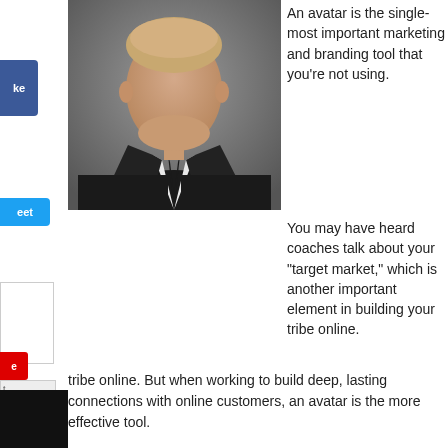[Figure (photo): Faceless man in dark suit and black tie against grey background, used to represent an avatar concept]
An avatar is the single-most important marketing and branding tool that you’re not using.
You may have heard coaches talk about your “target market,” which is another important element in building your tribe online.  But when working to build deep, lasting connections with online customers, an avatar is the more effective tool.
So what is an avatar, anyway?  Simply put, it’s an imaginary person created to represent your ideal customer.
Let’s take a look at my avatar for The Boomer Business